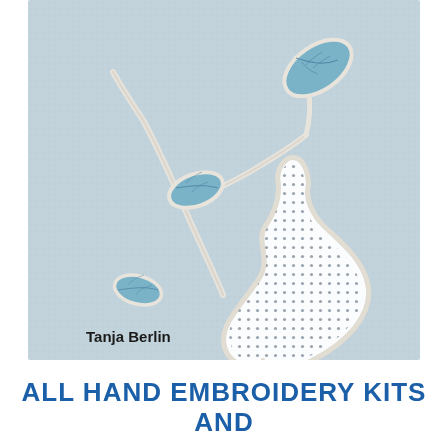[Figure (illustration): A light blue linen fabric background with a hand embroidery design of a pear fruit on a branch with leaves. The pear body is filled with small dots (broderie anglaise / drawn thread work style). The leaves are outlined in white thread with blue silk fill showing leaf veins. A branch extends diagonally. Author name 'Tanja Berlin' appears in bold black text at the lower left of the image.]
ALL HAND EMBROIDERY KITS AND